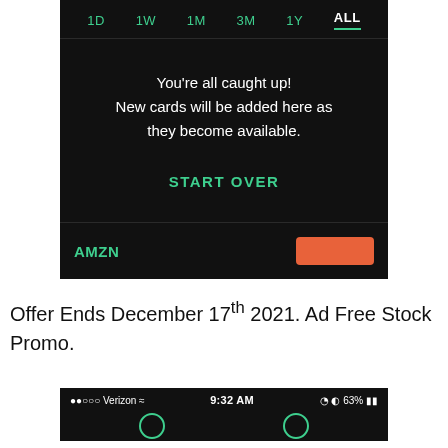[Figure (screenshot): Mobile app screenshot showing time period tabs (1D, 1W, 1M, 3M, 1Y, ALL) with ALL selected, a dark card area with 'You're all caught up! New cards will be added here as they become available.' message, a START OVER button, and an AMZN ticker strip with an orange button at the bottom.]
Offer Ends December 17th 2021. Ad Free Stock Promo.
[Figure (screenshot): Mobile status bar showing Verizon signal, WiFi, 9:32 AM time, and 63% battery. Bottom navigation bar with circle icons.]